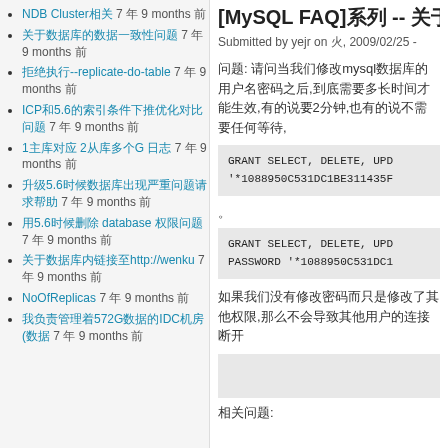NDB Cluster相关 7 年 9 months 前
关于数据库的数据一致性问题 7 年 9 months 前
拒绝执行--replicate-do-table 7 年 9 months 前
ICP和5.6的索引条件下推优化对比问题 7 年 9 months 前
1主库对应 2从库多个G 日志 7 年 9 months 前
升级5.6时候数据库出现严重问题请求帮助 7 年 9 months 前
用5.6时候删除 database 权限问题 7 年 9 months 前
关于数据库内链接至http://wenku 7 年 9 months 前
NoOfReplicas 7 年 9 months 前
我负责管理着572G数据的IDC机房(数据 7 年 9 months 前
[MySQL FAQ]系列 -- 关于密码
Submitted by yejr on 火, 2009/02/25 -
问题: 请问当我们修改mysql数据库的用户名密码之后,到底需要多长时间才能生效,有的说要2分钟,也有的说不需要任何等待,
GRANT SELECT, DELETE, UPD
'*1088950C531DC1BE311435F
。
GRANT SELECT, DELETE, UPD
PASSWORD '*1088950C531DC1
如果我们没有修改密码而只是修改了其他权限,那么不会导致其他用户的连接断开
相关问题: